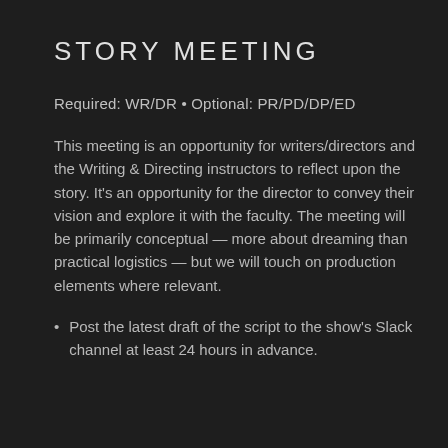STORY MEETING
Required: WR/DR • Optional: PR/PD/DP/ED
This meeting is an opportunity for writers/directors and the Writing & Directing instructors to reflect upon the story. It's an opportunity for the director to convey their vision and explore it with the faculty. The meeting will be primarily conceptual — more about dreaming than practical logistics — but we will touch on production elements where relevant.
Post the latest draft of the script to the show's Slack channel at least 24 hours in advance.